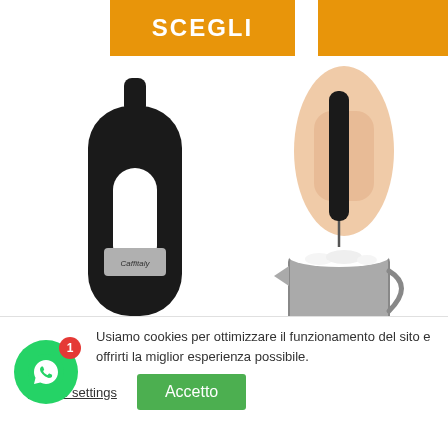[Figure (other): Orange banner with text SCEGLI on the left top]
[Figure (other): Orange banner on the right top, partially visible]
[Figure (photo): Black capsule opener (Apricapsule) product photo on white background]
[Figure (photo): Hand holding a black milk frother over a steel frothing pitcher, product photo on white background]
Apricapsule
★★★★★
★★★★★★
13,50€
Usiamo cookies per ottimizzare il funzionamento del sito e offrirti la miglior esperienza possibile.
Cookie settings
Accetto